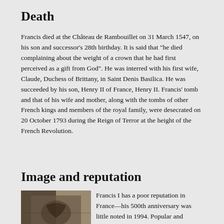Death
Francis died at the Château de Rambouillet on 31 March 1547, on his son and successor's 28th birthday. It is said that "he died complaining about the weight of a crown that he had first perceived as a gift from God". He was interred with his first wife, Claude, Duchess of Brittany, in Saint Denis Basilica. He was succeeded by his son, Henry II of France, Henry II. Francis' tomb and that of his wife and mother, along with the tombs of other French kings and members of the royal family, were desecrated on 20 October 1793 during the Reign of Terror at the height of the French Revolution.
Image and reputation
[Figure (photo): A dark photograph showing what appears to be a carved stone or metal relief with a crown motif, related to Francis I's tomb or monument.]
Francis I has a poor reputation in France—his 500th anniversary was little noted in 1994. Popular and scholarly historical memory